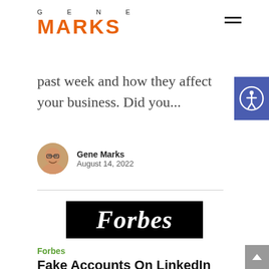GENE MARKS
past week and how they affect your business. Did you...
Gene Marks
August 14, 2022
[Figure (logo): Forbes logo — white serif italic text on black background]
Forbes
Fake Accounts On LinkedIn